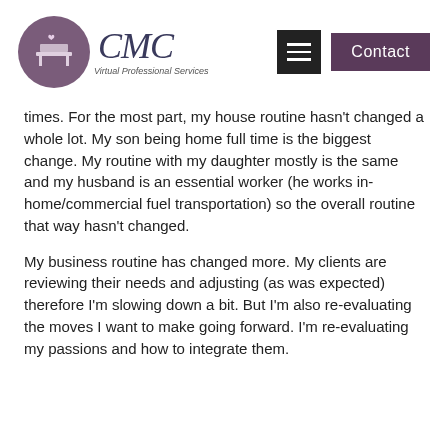CMC Virtual Professional Services — navigation header with logo, hamburger menu, and Contact button
times. For the most part, my house routine hasn't changed a whole lot. My son being home full time is the biggest change. My routine with my daughter mostly is the same and my husband is an essential worker (he works in-home/commercial fuel transportation) so the overall routine that way hasn't changed.
My business routine has changed more. My clients are reviewing their needs and adjusting (as was expected) therefore I'm slowing down a bit. But I'm also re-evaluating the moves I want to make going forward. I'm re-evaluating my passions and how to integrate them.